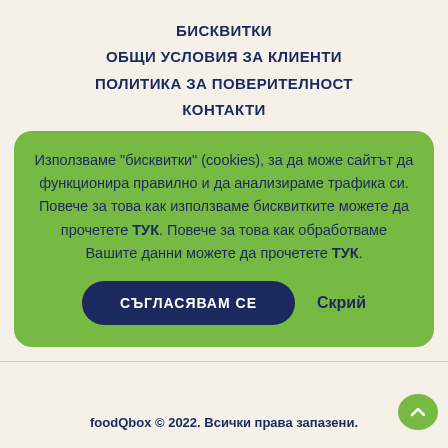БИСКВИТКИ
ОБЩИ УСЛОВИЯ ЗА КЛИЕНТИ
ПОЛИТИКА ЗА ПОВЕРИТЕЛНОСТ
КОНТАКТИ
Използваме "бисквитки" (cookies), за да може сайтът да функционира правилно и да анализираме трафика си. Повече за това как използваме бисквитките можете да прочетете ТУК. Повече за това как обработваме Вашите данни можете да прочетете ТУК.
СЪГЛАСЯВАМ СЕ
Скрий
foodQbox © 2022. Всички права запазени.